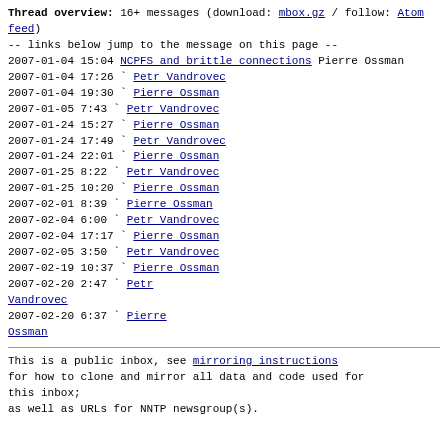Thread overview: 16+ messages (download: mbox.gz / follow: Atom feed)
-- links below jump to the message on this page --
2007-01-04 15:04 NCPFS and brittle connections Pierre Ossman
2007-01-04 17:26  ` Petr Vandrovec
2007-01-04 19:30    ` Pierre Ossman
2007-01-05  7:43      ` Petr Vandrovec
2007-01-24 15:27        ` Pierre Ossman
2007-01-24 17:49          ` Petr Vandrovec
2007-01-24 22:01            ` Pierre Ossman
2007-01-25  8:22              ` Petr Vandrovec
2007-01-25 10:20                ` Pierre Ossman
2007-02-01  8:39                  ` Pierre Ossman
2007-02-04  6:00                  ` Petr Vandrovec
2007-02-04 17:17                    ` Pierre Ossman
2007-02-05  3:50                      ` Petr Vandrovec
2007-02-19 10:37                        ` Pierre Ossman
2007-02-20  2:47                          ` Petr Vandrovec
2007-02-20  6:37                            ` Pierre Ossman
This is a public inbox, see mirroring instructions
for how to clone and mirror all data and code used for this inbox;
as well as URLs for NNTP newsgroup(s).